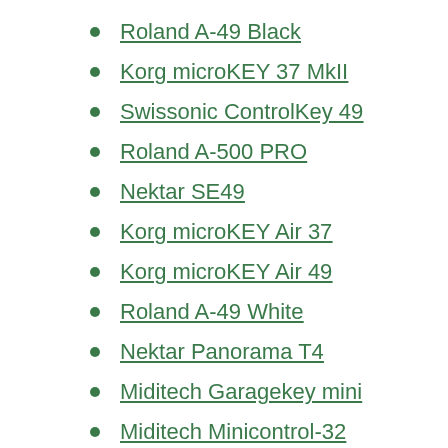Roland A-49 Black
Korg microKEY 37 MkII
Swissonic ControlKey 49
Roland A-500 PRO
Nektar SE49
Korg microKEY Air 37
Korg microKEY Air 49
Roland A-49 White
Nektar Panorama T4
Miditech Garagekey mini
Miditech Minicontrol-32